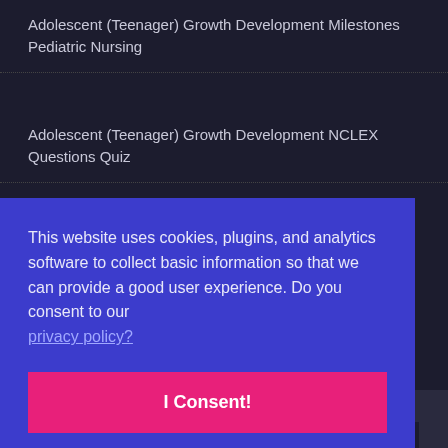Adolescent (Teenager) Growth Development Milestones Pediatric Nursing
Adolescent (Teenager) Growth Development NCLEX Questions Quiz
Next Generation NCLEX
This website uses cookies, plugins, and analytics software to collect basic information so that we can provide a good user experience. Do you consent to our privacy policy?
I Consent!
This website uses...